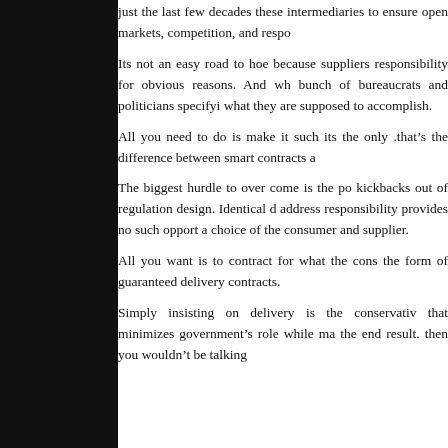just the last few decades these intermediaries to ensure open markets, competition, and respo
Its not an easy road to hoe because suppliers responsibility for obvious reasons. And wh bunch of bureaucrats and politicians specifyi what they are supposed to accomplish.
All you need to do is make it such its the only .that’s the difference between smart contracts a
The biggest hurdle to over come is the po kickbacks out of regulation design. Identical d address responsibility provides no such opport a choice of the consumer and supplier.
All you want is to contract for what the cons the form of guaranteed delivery contracts.
Simply insisting on delivery is the conservativ that minimizes government’s role while ma the end result. then you wouldn’t be talking